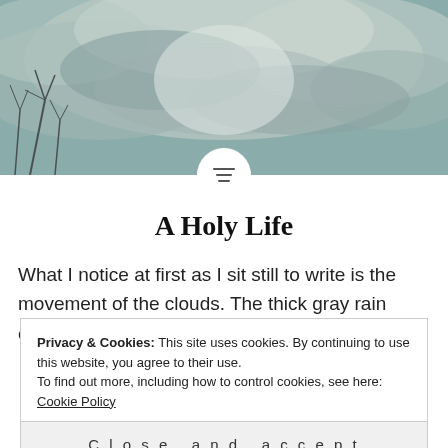[Figure (photo): Landscape photo of cloudy sky with muted teal and gray tones, bare tree branches visible on left side, overcast atmospheric scene]
A Holy Life
What I notice at first as I sit still to write is the movement of the clouds. The thick gray rain clouds are quickly passing
Privacy & Cookies: This site uses cookies. By continuing to use this website, you agree to their use.
To find out more, including how to control cookies, see here: Cookie Policy
Close and accept
READ MORE